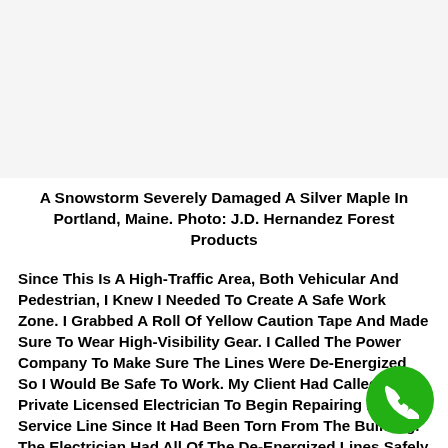[Figure (photo): Blank/white image area representing a photo of a snowstorm-damaged silver maple tree in Portland, Maine]
A Snowstorm Severely Damaged A Silver Maple In Portland, Maine. Photo: J.D. Hernandez Forest Products
Since This Is A High-Traffic Area, Both Vehicular And Pedestrian, I Knew I Needed To Create A Safe Work Zone. I Grabbed A Roll Of Yellow Caution Tape And Made Sure To Wear High-Visibility Gear. I Called The Power Company To Make Sure The Lines Were De-Energized So I Would Be Safe To Work. My Client Had Called A Private Licensed Electrician To Begin Repairing His Service Line Since It Had Been Torn From The Building. The Electrician Had All Of The De-Energized Lines Safely Removed From My Work Zone, And The Residential Distribution Lines Were Located